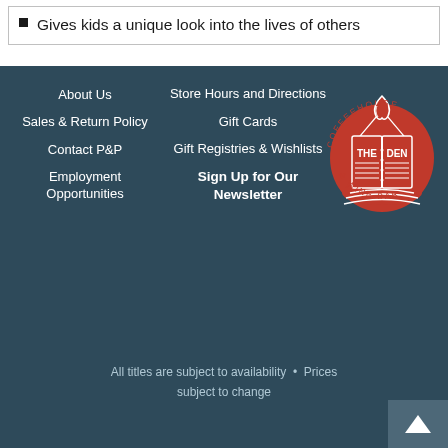Gives kids a unique look into the lives of others
About Us
Sales & Return Policy
Contact P&P
Employment Opportunities
Store Hours and Directions
Gift Cards
Gift Registries & Wishlists
Sign Up for Our Newsletter
[Figure (logo): The Den Coffeehouse & Wine Bar circular logo with a red book graphic and the text THE DEN in the center]
All titles are subject to availability • Prices subject to change